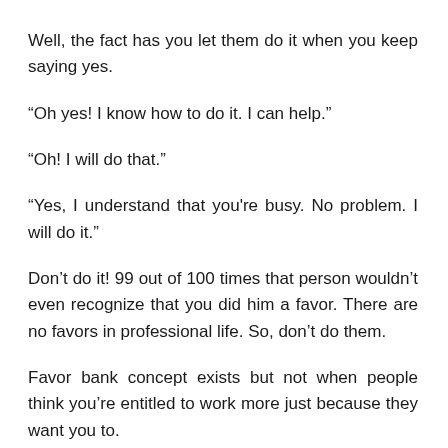Well, the fact has you let them do it when you keep saying yes.
“Oh yes! I know how to do it. I can help.”
“Oh! I will do that.”
“Yes, I understand that you're busy. No problem. I will do it.”
Don’t do it! 99 out of 100 times that person wouldn’t even recognize that you did him a favor. There are no favors in professional life. So, don’t do them.
Favor bank concept exists but not when people think you’re entitled to work more just because they want you to.